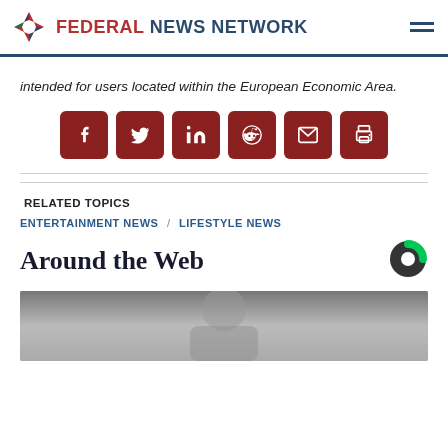FEDERAL NEWS NETWORK
intended for users located within the European Economic Area.
[Figure (infographic): Social share buttons: Facebook, Twitter, LinkedIn, Reddit, Email, Print — dark red rounded square icons]
RELATED TOPICS
ENTERTAINMENT NEWS / LIFESTYLE NEWS
Around the Web
[Figure (photo): Thumbnail image partially visible at bottom of page, showing a person, blurred/cropped]